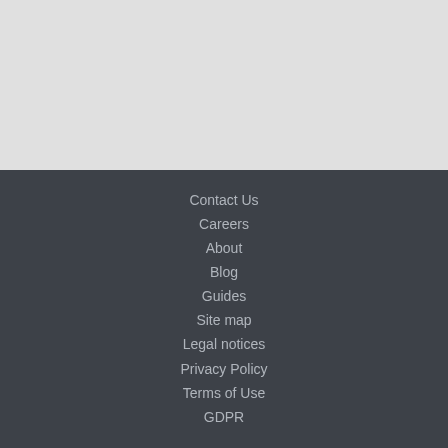[Figure (other): Gray top area placeholder / content region]
Contact Us
Careers
About
Blog
Guides
Site map
Legal notices
Privacy Policy
Terms of Use
GDPR
Subscribe
Copyright © 1997-2022 G…
We're Online! How may I help you today?